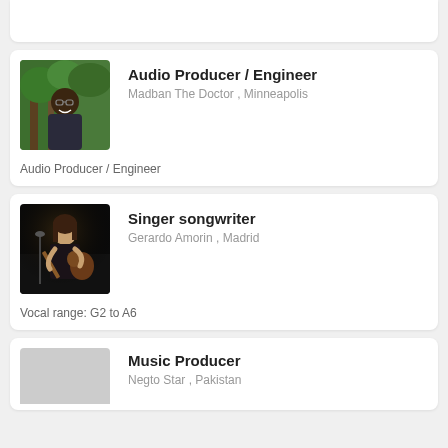[Figure (photo): Partial card at top of page, cut off]
[Figure (photo): Profile photo of Madban The Doctor, a man smiling outdoors among trees]
Audio Producer / Engineer
Madban The Doctor , Minneapolis
Audio Producer / Engineer
[Figure (photo): Profile photo of Gerardo Amorin, a person playing guitar on stage in low light]
Singer songwriter
Gerardo Amorin , Madrid
Vocal range: G2 to A6
Music Producer
Negto Star , Pakistan